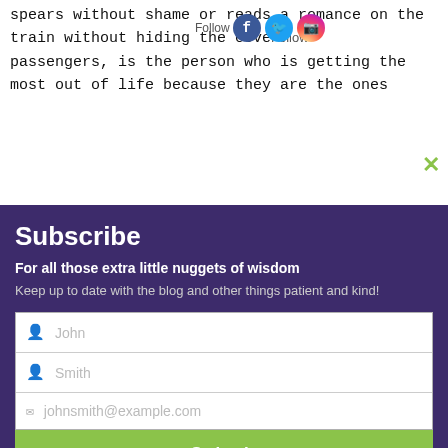spears without shame or reads a romance on the train without hiding the cover from fellow passengers, is the person who is getting the most out of life because they are the ones
[Figure (screenshot): Social media follow bar with Facebook, Twitter, Instagram icons and close X button]
Subscribe
For all those extra little nuggets of wisdom
Keep up to date with the blog and other things patient and kind!
[Figure (screenshot): Subscription form with fields: John (first name), Smith (last name), johnsmith@example.com (email), and a Submit button]
... in possession of a library book
Advertisements
[Figure (screenshot): Pressable advertisement: ThePlatform Where WordPress Works Best]